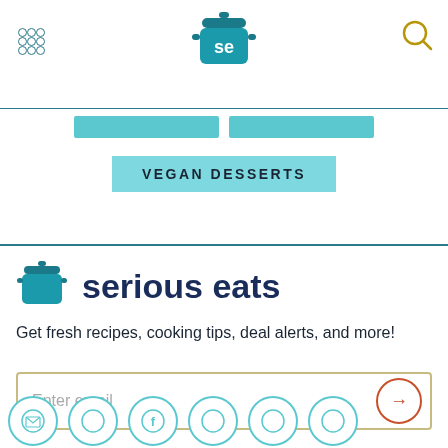[Figure (logo): Serious Eats logo - cooking pot with 'se' text, in teal/dark teal color]
VEGAN DESSERTS
[Figure (logo): Serious Eats full logo with pot icon and 'serious eats' text in dark navy]
Get fresh recipes, cooking tips, deal alerts, and more!
[Figure (screenshot): Email signup input box with 'Enter email' placeholder and submit arrow button]
[Figure (infographic): Row of social media icons (circular outlines) at bottom]